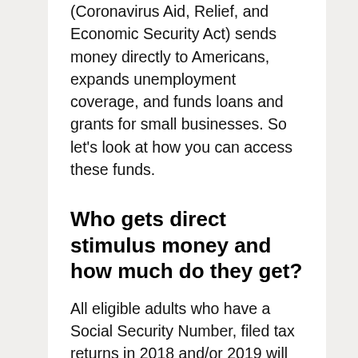(Coronavirus Aid, Relief, and Economic Security Act) sends money directly to Americans, expands unemployment coverage, and funds loans and grants for small businesses. So let’s look at how you can access these funds.
Who gets direct stimulus money and how much do they get?
All eligible adults who have a Social Security Number, filed tax returns in 2018 and/or 2019 will automatically get a $1,200 direct